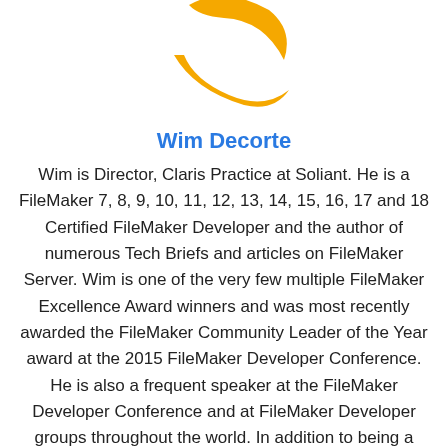[Figure (logo): Soliant logo — two golden/amber curved shapes forming a stylized globe or swoosh icon]
Wim Decorte
Wim is Director, Claris Practice at Soliant. He is a FileMaker 7, 8, 9, 10, 11, 12, 13, 14, 15, 16, 17 and 18 Certified FileMaker Developer and the author of numerous Tech Briefs and articles on FileMaker Server. Wim is one of the very few multiple FileMaker Excellence Award winners and was most recently awarded the FileMaker Community Leader of the Year award at the 2015 FileMaker Developer Conference. He is also a frequent speaker at the FileMaker Developer Conference and at FileMaker Developer groups throughout the world. In addition to being a renowned expert on FileMaker Server, Wim also specializes in integrating FileMaker with other applications and systems. His pet project is the open source fmDotNet connector class that he created.